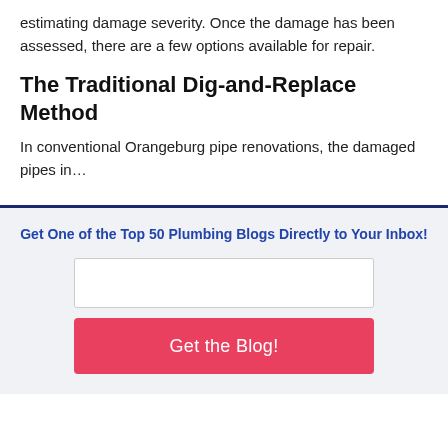estimating damage severity. Once the damage has been assessed, there are a few options available for repair.
The Traditional Dig-and-Replace Method
In conventional Orangeburg pipe renovations, the damaged pipes in…
Get One of the Top 50 Plumbing Blogs Directly to Your Inbox!